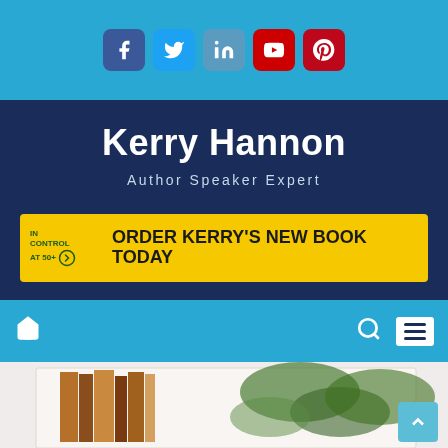[Figure (screenshot): Social media icons bar: Facebook (dark blue), Twitter (light blue), LinkedIn (medium blue), YouTube (red), Pinterest (dark red) on a light blue background]
Kerry Hannon
Author Speaker Expert
[Figure (infographic): Yellow banner advertisement: 'IN CONTROL AT 50+' logo on left with arrow, then bold black text 'ORDER KERRY'S NEW BOOK TODAY']
[Figure (screenshot): Light blue navigation bar with home icon on left, search icon and hamburger menu on right]
[Figure (photo): Partial photo of books and foliage visible at bottom of page, with a scroll-to-top button in lower right corner]